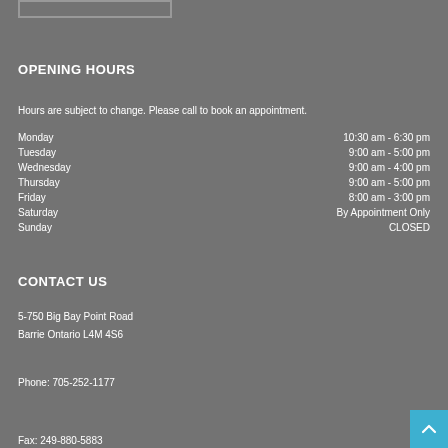OPENING HOURS
Hours are subject to change. Please call to book an appointment.
| Day | Hours |
| --- | --- |
| Monday | 10:30 am - 6:30 pm |
| Tuesday | 9:00 am - 5:00 pm |
| Wednesday | 9:00 am - 4:00 pm |
| Thursday | 9:00 am - 5:00 pm |
| Friday | 8:00 am - 3:00 pm |
| Saturday | By Appointment Only |
| Sunday | CLOSED |
CONTACT US
5-750 Big Bay Point Road
Barrie Ontario L4M 4S6
Phone: 705-252-1177
Fax: 249-880-5883